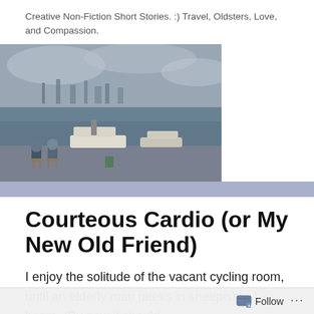Creative Non-Fiction Short Stories. :) Travel, Oldsters, Love, and Compassion.
[Figure (photo): A harbor scene with two people sitting by the waterfront, fishing boats docked, and a city skyline in the background under cloudy skies.]
Courteous Cardio (or My New Old Friend)
I enjoy the solitude of the vacant cycling room, until an elderly man peeks in sheepishly. I beam. (By now it should